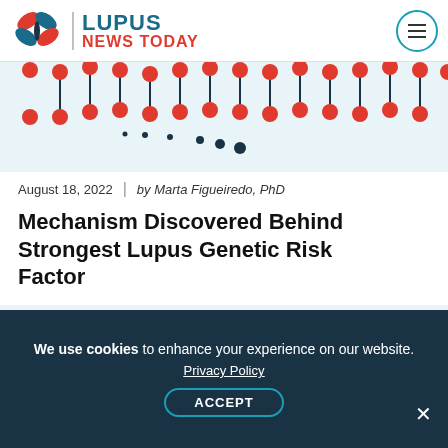[Figure (logo): Lupus News Today logo with butterfly/leaf icon in teal and red, site name in teal and red text, hamburger menu icon in circle top right]
[Figure (illustration): Top portion of DNA double helix illustration with red and dark teal beads on light blue background, with scattered dots below]
August 18, 2022 | by Marta Figueiredo, PhD
Mechanism Discovered Behind Strongest Lupus Genetic Risk Factor
[Figure (illustration): Partial illustration of two cartoon human figures facing each other on light blue background]
We use cookies to enhance your experience on our website.
Privacy Policy
ACCEPT